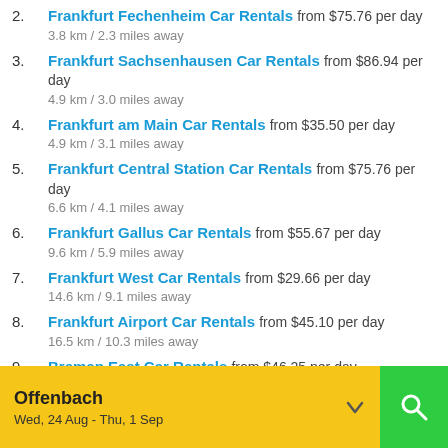2. Frankfurt Fechenheim Car Rentals from $75.76 per day
3.8 km / 2.3 miles away
3. Frankfurt Sachsenhausen Car Rentals from $86.94 per day
4.9 km / 3.0 miles away
4. Frankfurt am Main Car Rentals from $35.50 per day
4.9 km / 3.1 miles away
5. Frankfurt Central Station Car Rentals from $75.76 per day
6.6 km / 4.1 miles away
6. Frankfurt Gallus Car Rentals from $55.67 per day
9.6 km / 5.9 miles away
7. Frankfurt West Car Rentals from $29.66 per day
14.6 km / 9.1 miles away
8. Frankfurt Airport Car Rentals from $45.10 per day
16.5 km / 10.3 miles away
9. Bremen East Car Rentals from $46.25 per day
24.9 km / 15.5 miles away
10. Mainz South Car Rentals from $83.11 per day
Offenbach
Wed, 24 Aug - Thu, 1 Sep